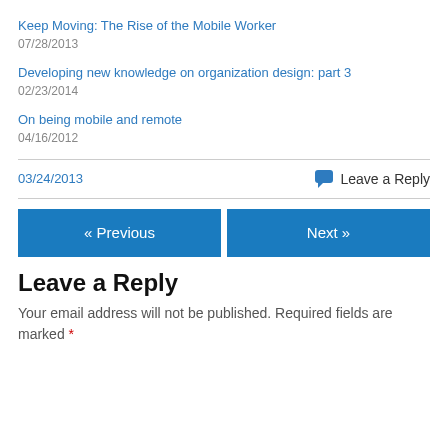Keep Moving: The Rise of the Mobile Worker
07/28/2013
Developing new knowledge on organization design: part 3
02/23/2014
On being mobile and remote
04/16/2012
03/24/2013
Leave a Reply
« Previous
Next »
Leave a Reply
Your email address will not be published. Required fields are marked *